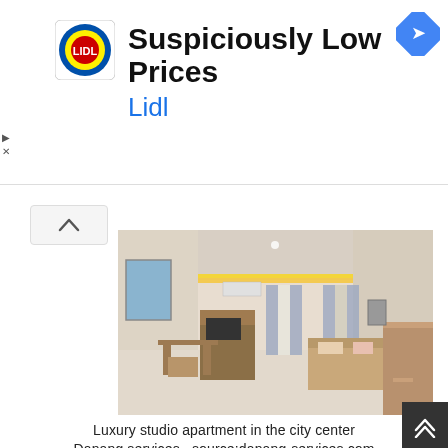[Figure (photo): Lidl advertisement banner with logo, title 'Suspiciously Low Prices' and brand name 'Lidl', with navigation arrow icon top right]
[Figure (photo): Interior photo of a luxury studio apartment showing bedroom, living area, wooden furniture, blue curtains, and yellow accent ceiling lighting]
Luxury studio apartment in the city center
Danang services , source:danang-services.com
[Figure (photo): Second interior photo of apartment showing ceiling details and room features]